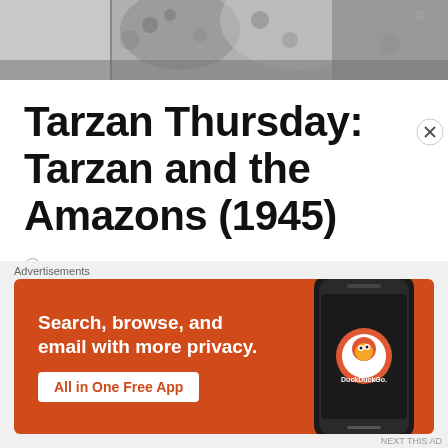[Figure (photo): Black and white photograph partially visible at top of page, appears to show a person]
Tarzan Thursday: Tarzan and the Amazons (1945)
August 1, 2013 by bernardovillela
Introduction
[Figure (screenshot): DuckDuckGo advertisement banner with orange background. Text: 'Search, browse, and email with more privacy. All in One Free App' with DuckDuckGo logo and phone graphic. Labeled 'Advertisements' above.]